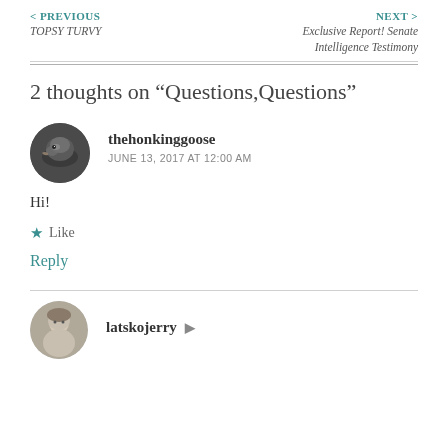< PREVIOUS TOPSY TURVY
NEXT > Exclusive Report! Senate Intelligence Testimony
2 thoughts on “Questions,Questions”
thehonkinggoose
JUNE 13, 2017 AT 12:00 AM
Hi!
★ Like
Reply
latskojerry